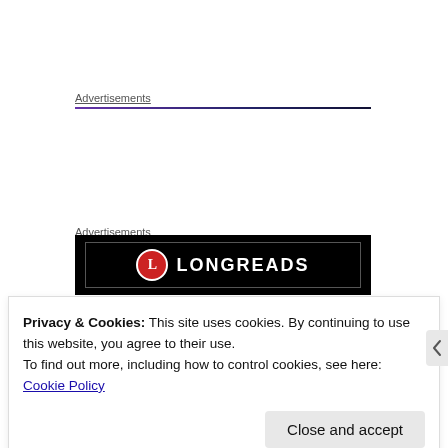Advertisements
Advertisements
[Figure (logo): Longreads logo on black banner background with red circle L icon]
Privacy & Cookies: This site uses cookies. By continuing to use this website, you agree to their use.
To find out more, including how to control cookies, see here: Cookie Policy
Close and accept